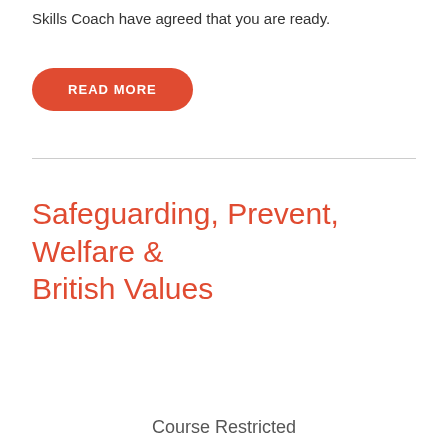Skills Coach have agreed that you are ready.
[Figure (other): Red rounded-rectangle button with white uppercase text READ MORE]
Safeguarding, Prevent, Welfare & British Values
Course Restricted